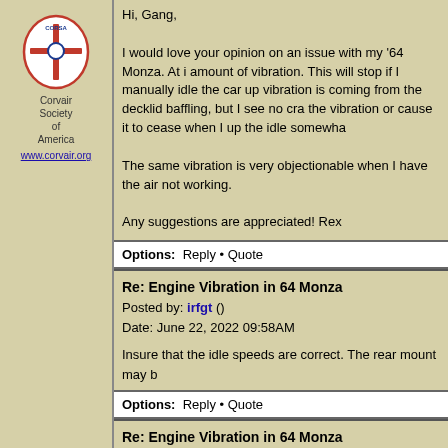[Figure (logo): Corvair Society of America logo with oval shape and cross, text 'Corvair Society of America' and link 'www.corvair.org']
Hi, Gang,

I would love your opinion on an issue with my '64 Monza. At i amount of vibration. This will stop if I manually idle the car up vibration is coming from the decklid baffling, but I see no cra the vibration or cause it to cease when I up the idle somewha

The same vibration is very objectionable when I have the air not working.

Any suggestions are appreciated! Rex
Options: Reply • Quote
Re: Engine Vibration in 64 Monza
Posted by: irfgt ()
Date: June 22, 2022 09:58AM
Insure that the idle speeds are correct. The rear mount may b
Options: Reply • Quote
Re: Engine Vibration in 64 Monza
Posted by: joelsplace ()
Date: June 22, 2022 12:43PM
Are you sure it isn't missing at low RPM?

Joel
Northlake, TX